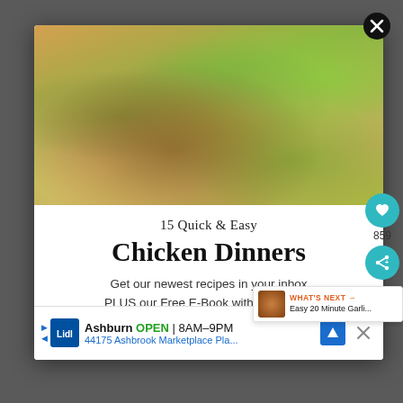[Figure (photo): Close-up food photography of chicken tacos with avocado, corn salsa, pineapple, and grilled chicken in tortillas]
15 Quick & Easy
Chicken Dinners
Get our newest recipes in your inbox PLUS our Free E-Book with everything you need to know about cooking Chicken confidently!
[Figure (screenshot): Bottom advertisement banner for Lidl grocery store in Ashburn, showing OPEN 8AM-9PM and address 44175 Ashbrook Marketplace Pla...]